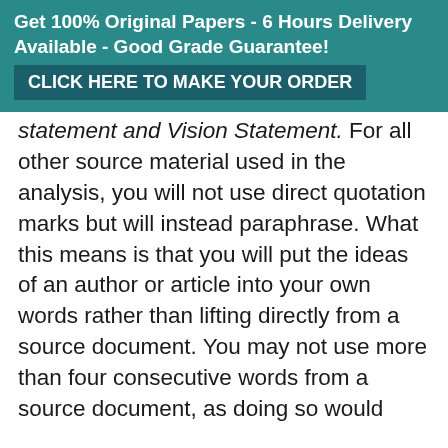Get 100% Original Papers - 6 Hours Delivery Available - Good Grade Guarantee! CLICK HERE TO MAKE YOUR ORDER
statement and Vision Statement. For all other source material used in the analysis, you will not use direct quotation marks but will instead paraphrase. What this means is that you will put the ideas of an author or article into your own words rather than lifting directly from a source document. You may not use more than four consecutive words from a source document, as doing so would require direct quotation marks. Changing words from a passage does not exclude the passage from having quotation marks. If more than four consecutive words are